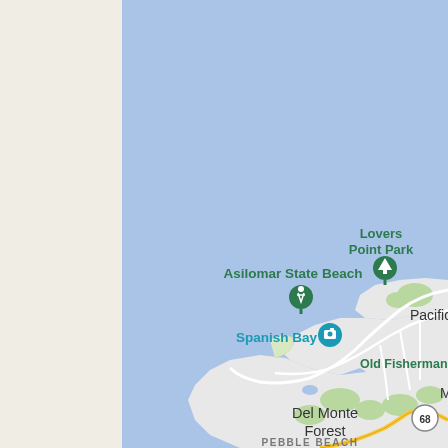[Figure (map): Google Maps view of the Monterey Peninsula coastline in California. Shows Monterey Bay / Pacific Ocean in light blue on the right portion of the map. Left side shows a beige/cream off-map area. Visible labeled locations include: Lovers Point Park (with green tree pin icon), Asilomar State Beach (with green hiking pin icon), Spanish Bay (with teal camera icon), Old Fisherman's Wharf (partially cut off), Pacific Grove, Del Monte Forest, and PEBBLE BEACH (partially visible at bottom). Roads shown in white/light gray with green route 68 highway marker. Coastal land shown in light gray with green patches indicating parks/vegetation.]